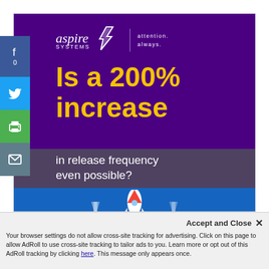[Figure (illustration): Social media share sidebar with Facebook (f, 0), Twitter bird icon, print icon, and email icon buttons stacked vertically on the left edge of the page]
[Figure (illustration): Aspire Systems advertisement banner with dark purple background. Shows Aspire Systems logo with flame/chevron icon and tagline 'attention. always.' Large yellow bold text reads 'Is a 200% increase' followed by white italic text 'in release frequency even possible?' with a rocket illustration partially visible at the bottom.]
This website uses cookies to ensure you get the best experience on our website. Learn more
Accept and Close ✕
Your browser settings do not allow cross-site tracking for advertising. Click on this page to allow AdRoll to use cross-site tracking to tailor ads to you. Learn more or opt out of this AdRoll tracking by clicking here. This message only appears once.